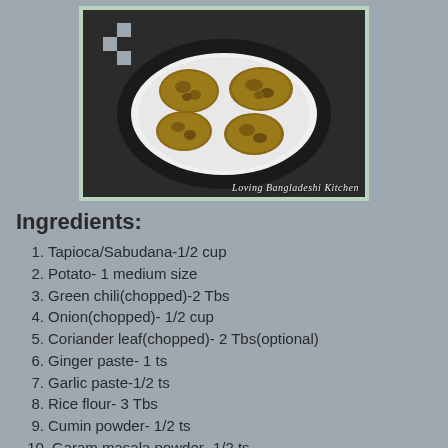[Figure (photo): Fried tapioca/sabudana vada on a plate, photographed from above, with watermark 'Loving Bangladeshi Kitchen']
Ingredients:
1. Tapioca/Sabudana-1/2 cup
2. Potato- 1 medium size
3. Green chili(chopped)-2 Tbs
4. Onion(chopped)- 1/2 cup
5. Coriander leaf(chopped)- 2 Tbs(optional)
6. Ginger paste- 1 ts
7. Garlic paste-1/2 ts
8. Rice flour- 3 Tbs
9. Cumin powder- 1/2 ts
10. Garam masala powder- 1/2 ts
11. Chat masala powder- 1/2 ts (optional)
12. Lemon juice- 2 ts